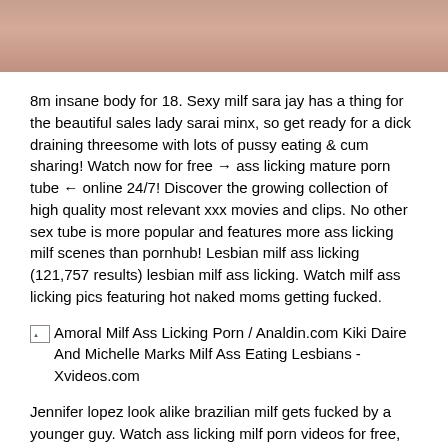[Figure (photo): Partial close-up flesh-toned photo cropped at top of page]
8m insane body for 18. Sexy milf sara jay has a thing for the beautiful sales lady sarai minx, so get ready for a dick draining threesome with lots of pussy eating & cum sharing! Watch now for free → ass licking mature porn tube ← online 24/7! Discover the growing collection of high quality most relevant xxx movies and clips. No other sex tube is more popular and features more ass licking milf scenes than pornhub! Lesbian milf ass licking (121,757 results) lesbian milf ass licking. Watch milf ass licking pics featuring hot naked moms getting fucked.
[Figure (photo): Broken image placeholder with alt text: Amoral Milf Ass Licking Porn / Analdin.com Kiki Daire And Michelle Marks Milf Ass Eating Lesbians - Xvideos.com]
Jennifer lopez look alike brazilian milf gets fucked by a younger guy. Watch ass licking milf porn videos for free, here on pornhub.com. Compilation of me farting out anal creampies. Mom loves anal sex categories and plenty of other kinky xxx content on this flaming free milf porn tube. Find the best milf ass licking videos